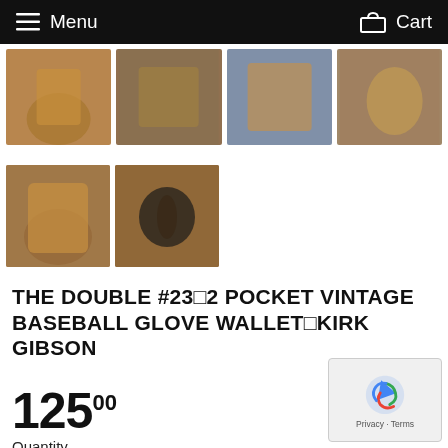Menu   Cart
[Figure (photo): Four thumbnail photos of a vintage baseball glove leather wallet shown from various angles]
[Figure (photo): Two more thumbnail photos of the vintage baseball glove leather wallet]
THE DOUBLE #23□2 POCKET VINTAGE BASEBALL GLOVE WALLET□KIRK GIBSON
125 00
Quantity